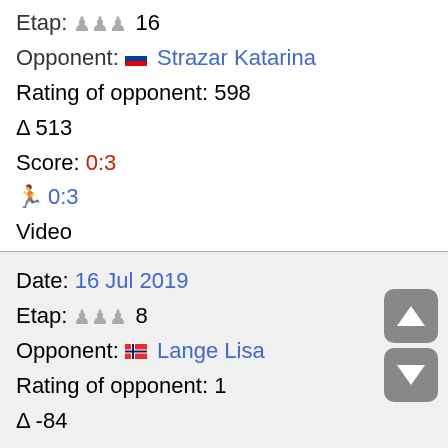Etap: 🨄🨄🨄 16
Opponent: 🇸🇮 Strazar Katarina
Rating of opponent: 598
Δ 513
Score: 0:3
🚶 0:3
Video
Date: 16 Jul 2019
Etap: 🨄🨄🨄 8
Opponent: 🇳🇴 Lange Lisa
Rating of opponent: 1
Δ -84
Score: 3:0
🚶 1:0
Video
Date: 16 Jul 2019
Etap: 🨄🨄🨄 4